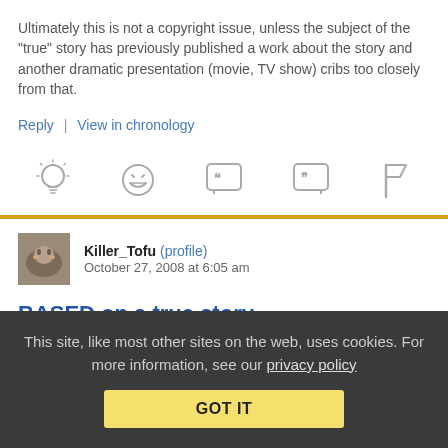Ultimately this is not a copyright issue, unless the subject of the “true” story has previously published a work about the story and another dramatic presentation (movie, TV show) cribs too closely from that.
Reply | View in chronology
[Figure (infographic): Row of 5 action icons: lightbulb, laughing face, left quote bubble, right quote bubble, flag]
Killer_Tofu (profile)   October 27, 2008 at 6:05 am
BASED on a true story
This site, like most other sites on the web, uses cookies. For more information, see our privacy policy
GOT IT